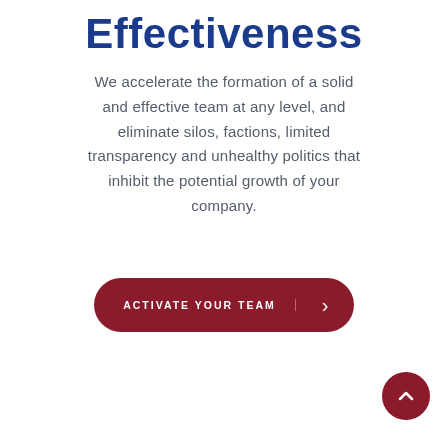Effectiveness
We accelerate the formation of a solid and effective team at any level, and eliminate silos, factions, limited transparency and unhealthy politics that inhibit the potential growth of your company.
[Figure (other): Dark red pill-shaped CTA button with text 'ACTIVATE YOUR TEAM' on the left and a chevron/arrow icon on the right, separated by a vertical line]
[Figure (other): Dark red circular scroll-to-top button with an upward chevron icon, positioned at bottom right]